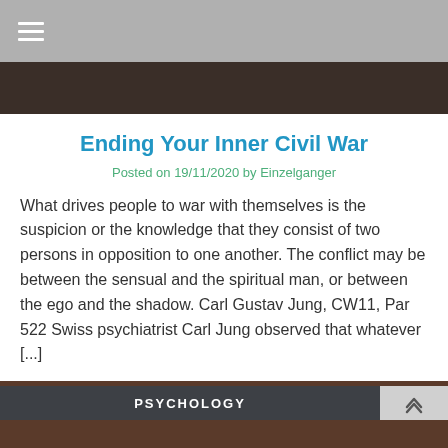☰ (hamburger menu)
[Figure (photo): Dark photograph strip visible at top of page]
Ending Your Inner Civil War
Posted on 19/11/2020 by Einzelganger
What drives people to war with themselves is the suspicion or the knowledge that they consist of two persons in opposition to one another. The conflict may be between the sensual and the spiritual man, or between the ego and the shadow. Carl Gustav Jung, CW11, Par 522 Swiss psychiatrist Carl Jung observed that whatever [...]
Read More
[Figure (photo): Partial photo visible at bottom of page]
PSYCHOLOGY